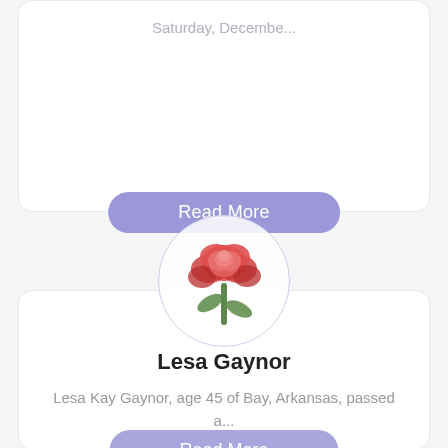Saturday, Decembe...
Read More
[Figure (photo): A red rose in a circular profile image frame]
Lesa Gaynor
Lesa Kay Gaynor, age 45 of Bay, Arkansas, passed a...
Read More